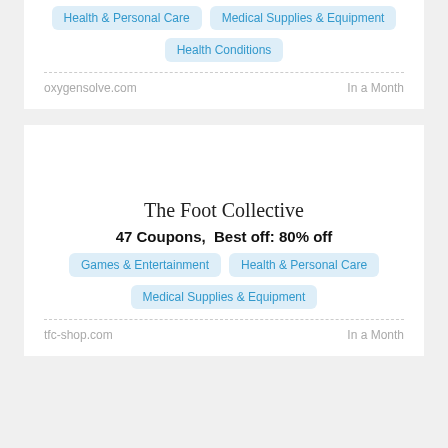Health & Personal Care
Medical Supplies & Equipment
Health Conditions
oxygensolve.com    In a Month
The Foot Collective
47 Coupons,  Best off: 80% off
Games & Entertainment
Health & Personal Care
Medical Supplies & Equipment
tfc-shop.com    In a Month